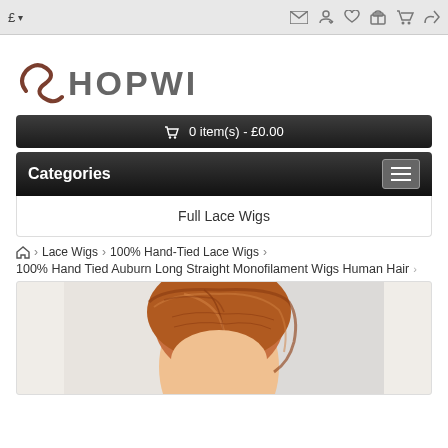£ ▾  [mail] [account] [wishlist] [gift] [cart] [share]
[Figure (logo): ShopWig logo with stylized S and HOPWIG text]
🛒 0 item(s) - £0.00
Categories
Full Lace Wigs
🏠 › Lace Wigs › 100% Hand-Tied Lace Wigs ›
100% Hand Tied Auburn Long Straight Monofilament Wigs Human Hair
[Figure (photo): Photo of a woman wearing an auburn long straight wig, showing the top and front of the head with hair parted in the middle]